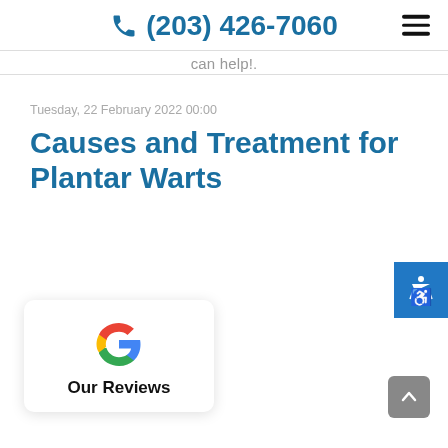(203) 426-7060
can help!.
Tuesday, 22 February 2022 00:00
Causes and Treatment for Plantar Warts
It is
[Figure (logo): Google G logo with 'Our Reviews' text below]
[Figure (other): Scroll to top button]